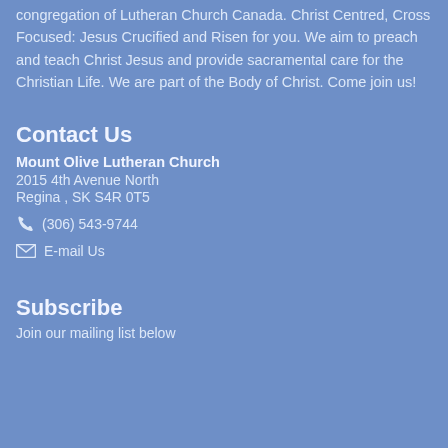congregation of Lutheran Church Canada. Christ Centred, Cross Focused: Jesus Crucified and Risen for you. We aim to preach and teach Christ Jesus and provide sacramental care for the Christian Life. We are part of the Body of Christ. Come join us!
Contact Us
Mount Olive Lutheran Church
2015 4th Avenue North
Regina , SK S4R 0T5
(306) 543-9744
E-mail Us
Subscribe
Join our mailing list below